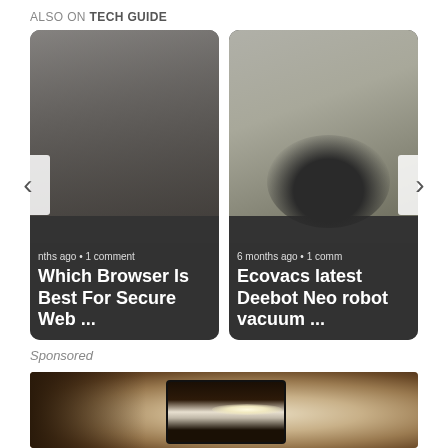ALSO ON TECH GUIDE
[Figure (photo): Carousel widget with two article cards: 'Which Browser Is Best For Secure Web ...' (months ago · 1 comment) and 'Ecovacs latest Deebot Neo robot vacuum ...' (6 months ago · 1 comment), with left and right navigation arrows]
Sponsored
[Figure (photo): Sponsored content image showing an outdoor wall-mounted lantern/light fixture against a textured stucco wall, with a bright bulb visible inside]